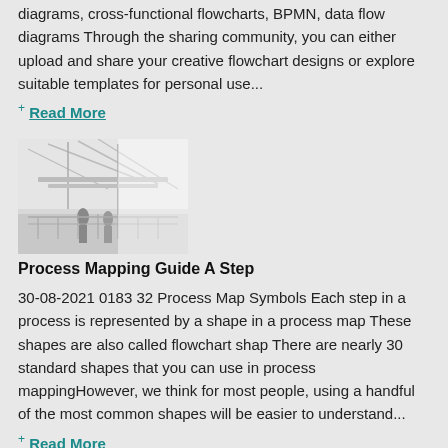diagrams, cross-functional flowcharts, BPMN, data flow diagrams Through the sharing community, you can either upload and share your creative flowchart designs or explore suitable templates for personal use...
+ Read More
[Figure (photo): Faded black and white photo of industrial infrastructure with cables and silhouetted figures]
Process Mapping Guide A Step
30-08-2021 0183 32 Process Map Symbols Each step in a process is represented by a shape in a process map These shapes are also called flowchart shap There are nearly 30 standard shapes that you can use in process mappingHowever, we think for most people, using a handful of the most common shapes will be easier to understand...
+ Read More